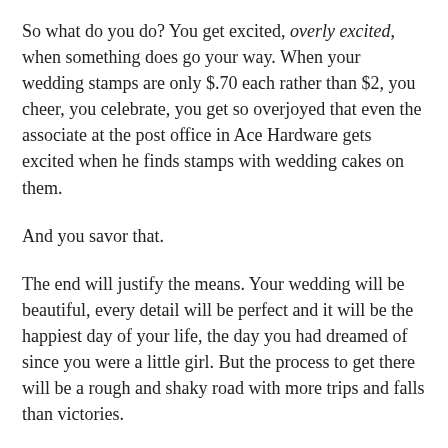So what do you do? You get excited, overly excited, when something does go your way. When your wedding stamps are only $.70 each rather than $2, you cheer, you celebrate, you get so overjoyed that even the associate at the post office in Ace Hardware gets excited when he finds stamps with wedding cakes on them.
And you savor that.
The end will justify the means. Your wedding will be beautiful, every detail will be perfect and it will be the happiest day of your life, the day you had dreamed of since you were a little girl. But the process to get there will be a rough and shaky road with more trips and falls than victories.
So when you do have a victory, enjoy it. And the next time something crashes and burns (because it will) remember that small victory you had and help it carry you through until the next one.
Update: Did you know you can actually order wedding stamps on Amazon? News to me!